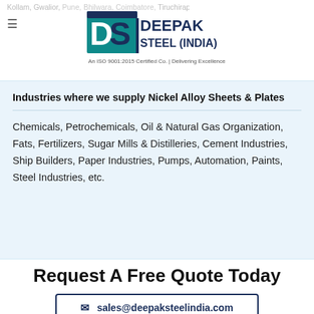Kollam, Gwalior, Pune, Bhilwara, Coimbatore, Tiruchirappalli, Nata...
[Figure (logo): Deepak Steel (India) logo — DS monogram with teal/navy colors, text 'DEEPAK STEEL (INDIA)', tagline 'An ISO 9001:2015 Certified Co. | Delivering Excellence']
Industries where we supply Nickel Alloy Sheets & Plates
Chemicals, Petrochemicals, Oil & Natural Gas Organization, Fats, Fertilizers, Sugar Mills & Distilleries, Cement Industries, Ship Builders, Paper Industries, Pumps, Automation, Paints, Steel Industries, etc.
Request A Free Quote Today
✉  sales@deepaksteelindia.com
- OR -